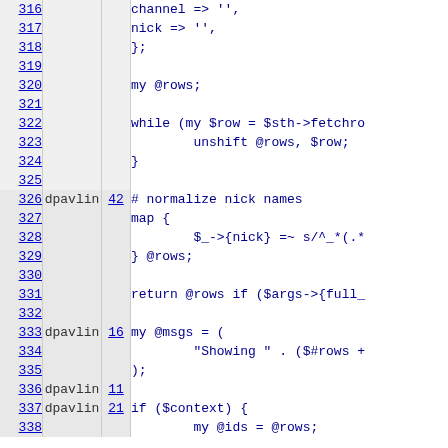| line | author | rev | code |
| --- | --- | --- | --- |
| 316 |  |  | channel => '', |
| 317 |  |  | nick => '', |
| 318 |  |  | }; |
| 319 |  |  |  |
| 320 |  |  | my @rows; |
| 321 |  |  |  |
| 322 |  |  | while (my $row = $sth->fetchro |
| 323 |  |  |         unshift @rows, $row; |
| 324 |  |  | } |
| 325 |  |  |  |
| 326 | dpavlin | 42 | # normalize nick names |
| 327 |  |  | map { |
| 328 |  |  |         $_->{nick} =~ s/^_*(.*) |
| 329 |  |  | } @rows; |
| 330 |  |  |  |
| 331 |  |  | return @rows if ($args->{full_ |
| 332 |  |  |  |
| 333 | dpavlin | 16 | my @msgs = ( |
| 334 |  |  |         "Showing " . ($#rows + |
| 335 |  |  | ); |
| 336 | dpavlin | 11 |  |
| 337 | dpavlin | 21 | if ($context) { |
| 338 |  |  |         my @ids = @rows; |